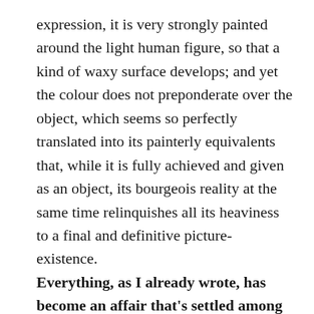expression, it is very strongly painted around the light human figure, so that a kind of waxy surface develops; and yet the colour does not preponderate over the object, which seems so perfectly translated into its painterly equivalents that, while it is fully achieved and given as an object, its bourgeois reality at the same time relinquishes all its heaviness to a final and definitive picture-existence. Everything, as I already wrote, has become an affair that's settled among the colours themselves: a colour will come into its own in